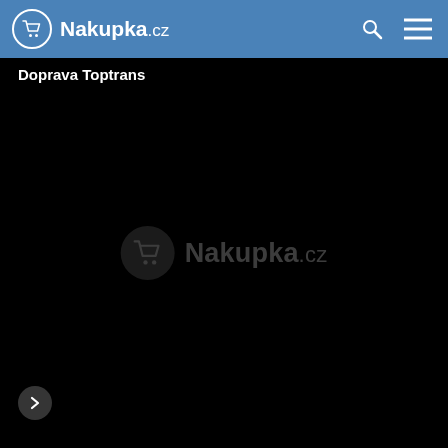Nakupka.cz
Doprava Toptrans
[Figure (screenshot): Black video/media player area with Nakupka.cz watermark logo centered, and a forward arrow button at bottom left]